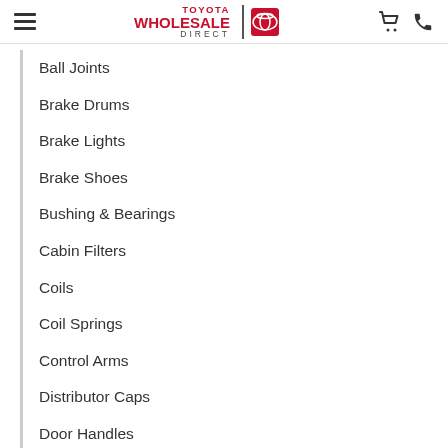Toyota Wholesale Direct | Toyota logo | cart icon | phone icon
Ball Joints
Brake Drums
Brake Lights
Brake Shoes
Bushing & Bearings
Cabin Filters
Coils
Coil Springs
Control Arms
Distributor Caps
Door Handles
Exhaust
Fan Parts
Fuel Injectors